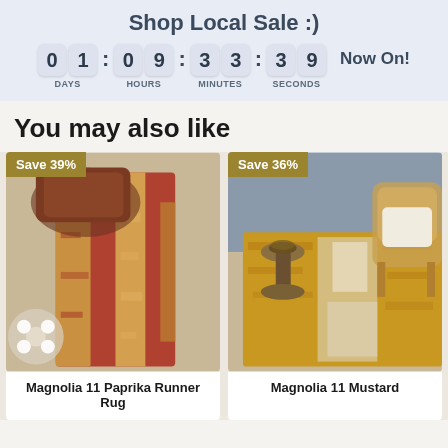Shop Local Sale :)
[Figure (infographic): Countdown timer showing 01 days, 09 hours, 33 minutes, 39 seconds with 'Now On!' text]
You may also like
[Figure (photo): Magnolia 11 Paprika Runner Rug product photo showing a red and gold patterned runner rug with a brown chair and white flowers in background. Save 39% badge.]
[Figure (photo): Magnolia 11 Mustard rug product photo showing gold/mustard colored rug with white pattern areas with rattan chairs. Save 36% badge.]
Magnolia 11 Paprika Runner Rug
Magnolia 11 Mustard